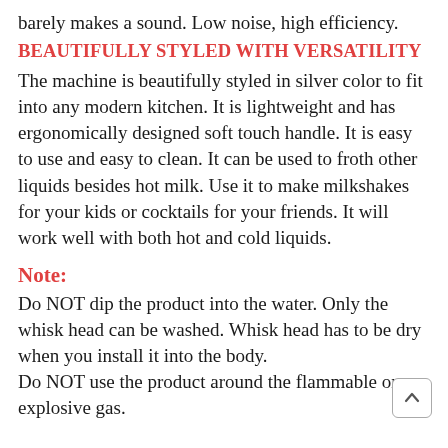barely makes a sound. Low noise, high efficiency.
BEAUTIFULLY STYLED WITH VERSATILITY
The machine is beautifully styled in silver color to fit into any modern kitchen. It is lightweight and has ergonomically designed soft touch handle. It is easy to use and easy to clean. It can be used to froth other liquids besides hot milk. Use it to make milkshakes for your kids or cocktails for your friends. It will work well with both hot and cold liquids.
Note:
Do NOT dip the product into the water. Only the whisk head can be washed. Whisk head has to be dry when you install it into the body.
Do NOT use the product around the flammable or explosive gas.